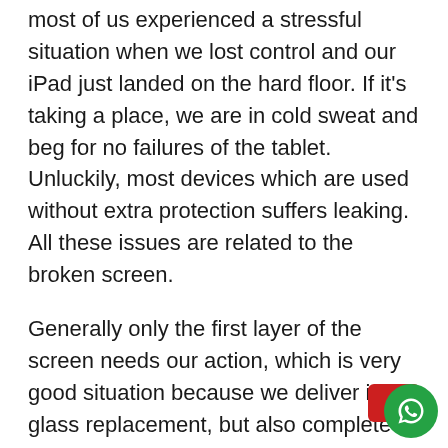most of us experienced a stressful situation when we lost control and our iPad just landed on the hard floor. If it's taking a place, we are in cold sweat and beg for no failures of the tablet. Unluckily, most devices which are used without extra protection suffers leaking. All these issues are related to the broken screen.
Generally only the first layer of the screen needs our action, which is very good situation because we deliver iPad glass replacement, but also complete iPad screen which includes not only glass, but liquid crystal display as well. This type of replacement meets Apple standards. Additionally, the glass repair takes a couple of hours only, unless we find further issues which can be linked to the screen issue, it may be failure of the earpiece, the front camera, the backlight o